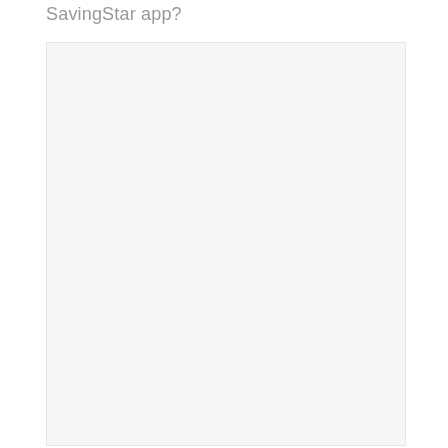SavingStar app?
[Figure (screenshot): A large light grey/off-white rectangular image placeholder area, likely representing a screenshot of the SavingStar app that is blank or not loaded.]